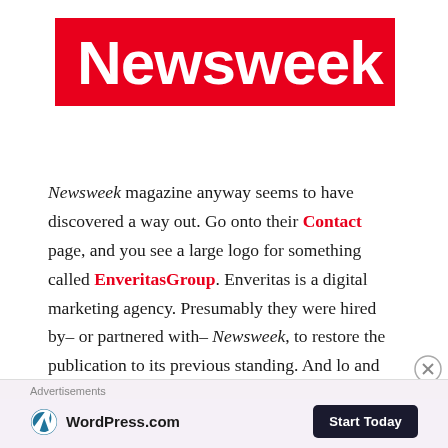[Figure (logo): Newsweek logo — white bold sans-serif text on red background]
Newsweek magazine anyway seems to have discovered a way out. Go onto their Contact page, and you see a large logo for something called EnveritasGroup. Enveritas is a digital marketing agency. Presumably they were hired by– or partnered with– Newsweek, to restore the publication to its previous standing. And lo and behold, the new strategy appears to have moved Newsweek headquarters to the most prestigious
Advertisements
[Figure (screenshot): WordPress.com advertisement banner with WordPress logo and 'Start Today' button on lavender background]